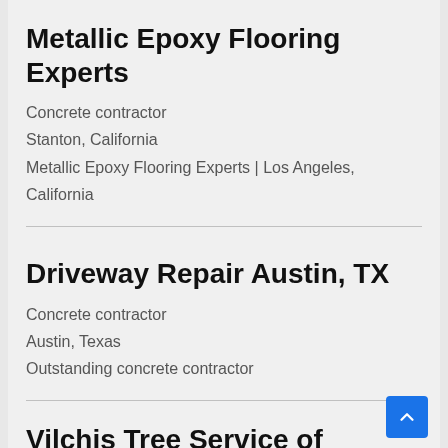Metallic Epoxy Flooring Experts
Concrete contractor
Stanton, California
Metallic Epoxy Flooring Experts | Los Angeles, California
Driveway Repair Austin, TX
Concrete contractor
Austin, Texas
Outstanding concrete contractor
Vilchis Tree Service of Newnan